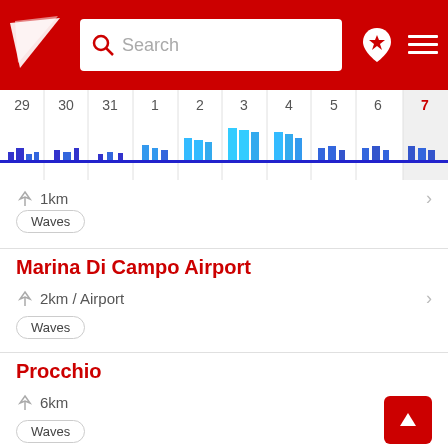[Figure (screenshot): App header with red background, logo, search box, location pin icon, and hamburger menu]
[Figure (bar-chart): Calendar date strip with wave height bar chart showing small waves across dates 29-7, taller bars around dates 2-4]
1km
Waves
Marina Di Campo Airport
2km / Airport
Waves
Procchio
6km
Waves
Lacona Beach, Elba
6km
Waves